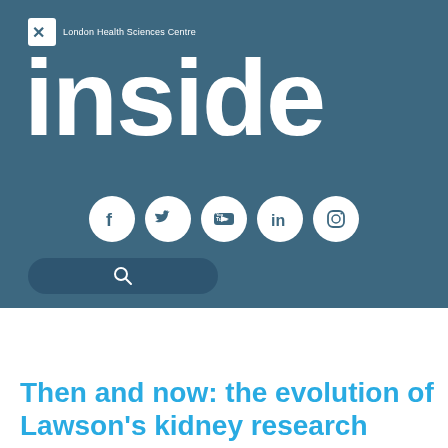[Figure (logo): London Health Sciences Centre logo with X icon and text, white on teal background]
inside
[Figure (infographic): Social media icons row: Facebook, Twitter, YouTube, LinkedIn, Instagram — white circles on teal background]
[Figure (screenshot): Search bar with magnifying glass icon on dark teal rounded rectangle]
Current Issue | Previous Issues | About inside | Sign Up | LHSC.on.ca
Then and now: the evolution of Lawson's kidney research